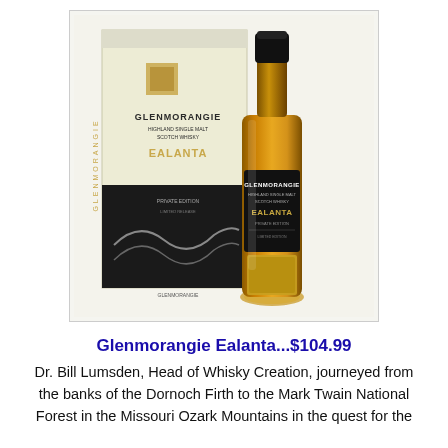[Figure (photo): Product photo of Glenmorangie Ealanta Highland Single Malt Scotch Whisky bottle alongside its cream and black gift box packaging. The bottle is amber/golden colored with a black label and gold cap. The box is cream/off-white with gold and black text reading GLENMORANGIE HIGHLAND SINGLE MALT SCOTCH WHISKY EALANTA and features mountain wave artwork on the black lower portion.]
Glenmorangie Ealanta...$104.99
Dr. Bill Lumsden, Head of Whisky Creation, journeyed from the banks of the Dornoch Firth to the Mark Twain National Forest in the Missouri Ozark Mountains in the quest for the